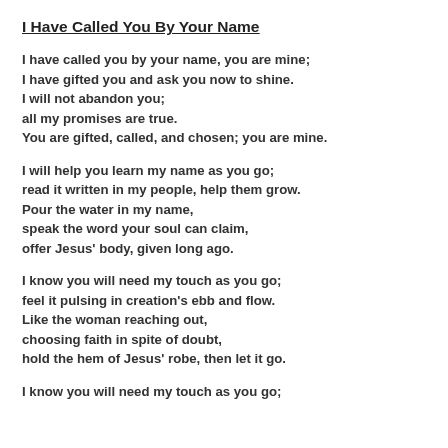I Have Called You By Your Name
I have called you by your name, you are mine;
I have gifted you and ask you now to shine.
I will not abandon you;
all my promises are true.
You are gifted, called, and chosen; you are mine.
I will help you learn my name as you go;
read it written in my people, help them grow.
Pour the water in my name,
speak the word your soul can claim,
offer Jesus' body, given long ago.
I know you will need my touch as you go;
feel it pulsing in creation's ebb and flow.
Like the woman reaching out,
choosing faith in spite of doubt,
hold the hem of Jesus' robe, then let it go.
I know you will need my touch as you go;